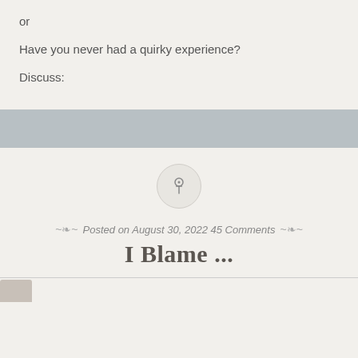or
Have you never had a quirky experience?
Discuss:
[Figure (other): Gray horizontal bar separating sections]
[Figure (other): Circular pin/thumbtack icon on light circular background]
Posted on August 30, 2022 45 Comments
I Blame ...